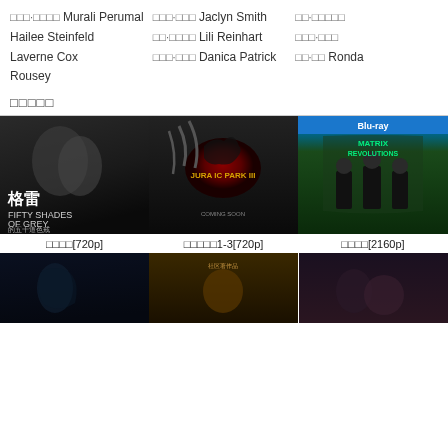□□□·□□□□ Murali Perumal   □□□·□□□ Jaclyn Smith   □□·□□□□□ Hailee Steinfeld   □□·□□□□ Lili Reinhart   □□□·□□□ Laverne Cox   □□□·□□□ Danica Patrick   □□·□□ Ronda Rousey
□□□□□
[Figure (photo): Movie poster: Fifty Shades of Grey (格雷的五十道色戒) with couple silhouetted]
□□□□[720p]
[Figure (photo): Movie poster: Jurassic Park III with dinosaur logo]
□□□□□1-3[720p]
[Figure (photo): Movie poster: Matrix Revolutions Blu-ray cover with three figures in black]
□□□□[2160p]
[Figure (photo): Movie poster bottom row left: dark underwater/horror scene]
[Figure (photo): Movie poster bottom row center: sepia-toned face with Chinese text]
[Figure (photo): Movie poster bottom row right: romantic couple, Titanic style]